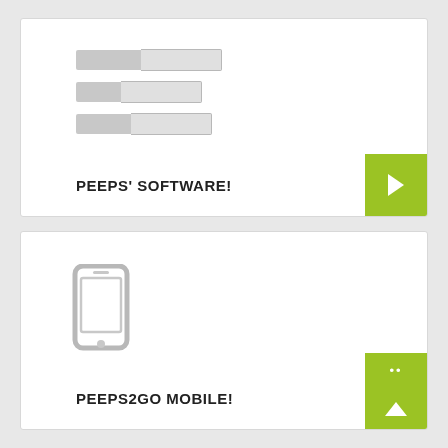[Figure (illustration): Card with form/software icon showing three stacked form rows with label and input fields, title PEEPS' SOFTWARE!, and a green arrow button in bottom right]
PEEPS' SOFTWARE!
[Figure (illustration): Card with mobile phone icon, title PEEPS2GO MOBILE!, and a green scroll-up button group in bottom right]
PEEPS2GO MOBILE!